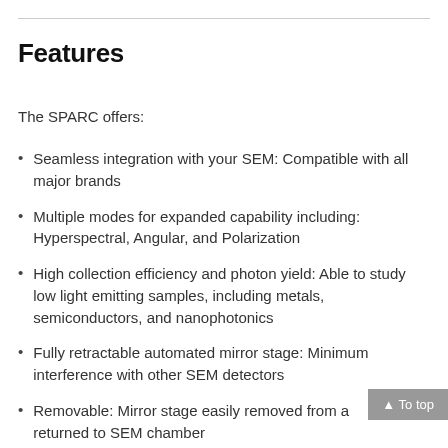Features
The SPARC offers:
Seamless integration with your SEM: Compatible with all major brands
Multiple modes for expanded capability including: Hyperspectral, Angular, and Polarization
High collection efficiency and photon yield: Able to study low light emitting samples, including metals, semiconductors, and nanophotonics
Fully retractable automated mirror stage: Minimum interference with other SEM detectors
Removable: Mirror stage easily removed from a [SEM and] returned to SEM chamber